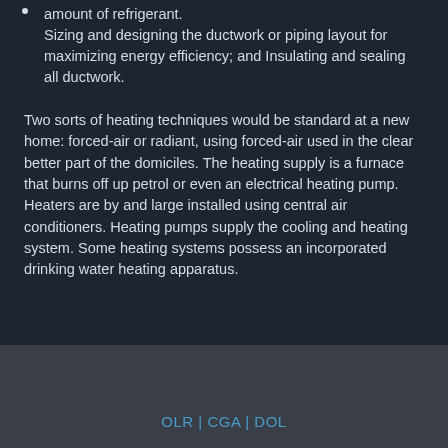Sizing and designing the ductwork or piping layout for maximizing energy efficiency; and Insulating and sealing all ductwork.
Two sorts of heating techniques would be standard at a new home: forced-air or radiant, using forced-air used in the clear better part of the domiciles. The heating supply is a furnace that burns off up petrol or even an electrical heating pump. Heaters are by and large installed using central air conditioners. Heating pumps supply the cooling and heating system. Some heating systems possess an incorporated drinking water heating apparatus.
OLR | CGA | DOL